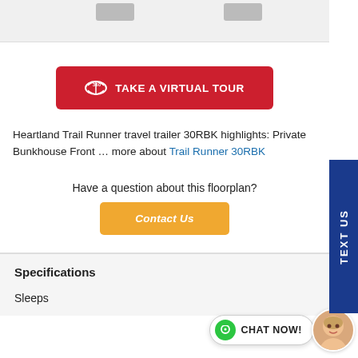[Figure (other): Top image area with small placeholder images visible at top]
[Figure (other): Red button: 360 degree icon with text TAKE A VIRTUAL TOUR]
Heartland Trail Runner travel trailer 30RBK highlights: Private Bunkhouse Front … more about Trail Runner 30RBK
Have a question about this floorplan?
[Figure (other): Orange Contact Us button]
Specifications
Sleeps
[Figure (other): Blue TEXT US sidebar tab on right edge]
[Figure (other): Chat Now button with green icon and avatar photo at bottom right]